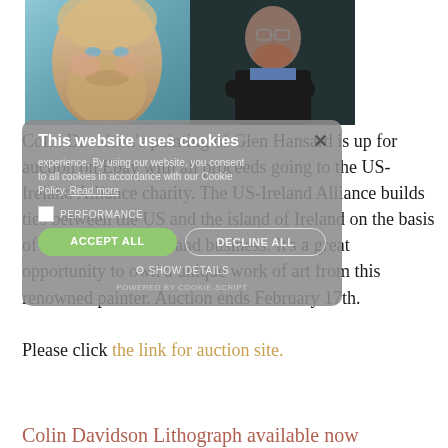[Figure (photo): Split image: left half shows a detailed oil painting portrait of a bearded man with blue eyes (painting of Glen Hansard after Van Gogh style), right half shows a photograph of a man with glasses and reddish beard in a dark jacket with arms crossed]
Colin Davidson's painting of Glen Hansard is up for auction on Ebay with all proceeds going to the US-Ireland Alliance charity. The US-Ireland Alliance builds ties between the US and the island of Ireland on the basis of education, culture and business. It's a great opportunity to own a unique work of art from this renowned painter. Auction ends February 17th.
Please click the link for auction site.
[Figure (screenshot): Cookie consent overlay with title 'This website uses cookies', body text about cookie policy, Accept All and Decline All buttons, Show Details option, and Powered by Cookie-Script footer]
Colin Davidson Lithograph available now